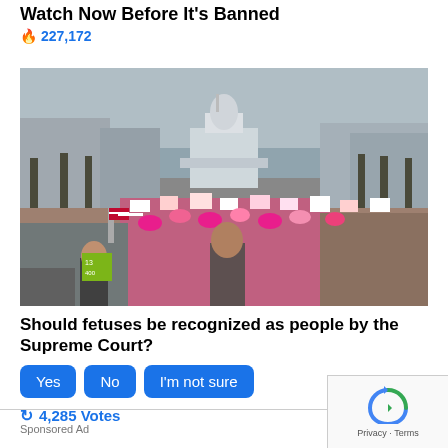Watch Now Before It's Banned
🔥 227,172
[Figure (photo): A large crowd of protesters marching down a wide avenue toward the US Capitol building in Washington DC, carrying signs and pink hats, trees lining the street on both sides, overcast sky.]
Should fetuses be recognized as people by the Supreme Court?
Yes  No  I'm not sure
↻ 4,285 Votes
Sponsored Ad